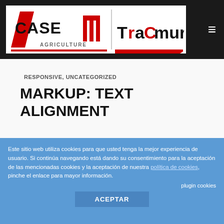CASE IH Agriculture — TRACMUR
RESPONSIVE, UNCATEGORIZED
MARKUP: TEXT ALIGNMENT
By A_99-773412_1 on febrero 12, 2016 - Responsive, Uncategorized
[Figure (photo): Blurred street scene with person wearing headphones with a microphone, dark background with blurred colors]
Este sitio web utiliza cookies para que usted tenga la mejor experiencia de usuario. Si continúa navegando está dando su consentimiento para la aceptación de las mencionadas cookies y la aceptación de nuestra política de cookies, pinche el enlace para mayor información.
plugin cookies
ACEPTAR